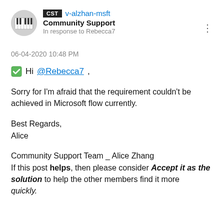CST v-alzhan-msft
Community Support
In response to Rebecca7
06-04-2020 10:48 PM
✅ Hi @Rebecca7 ,
Sorry for I'm afraid that the requirement couldn't be achieved in Microsoft flow currently.
Best Regards,
Alice
Community Support Team _ Alice Zhang
If this post helps, then please consider Accept it as the solution to help the other members find it more quickly.